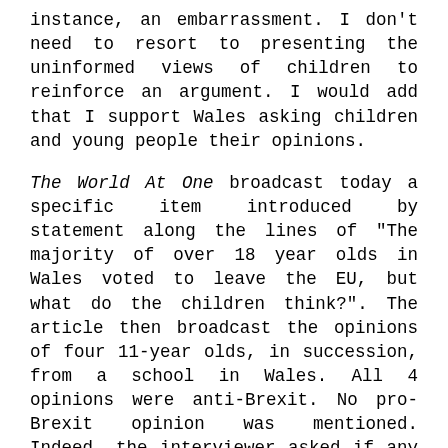instance, an embarrassment. I don't need to resort to presenting the uninformed views of children to reinforce an argument. I would add that I support Wales asking children and young people their opinions.
The World At One broadcast today a specific item introduced by statement along the lines of "The majority of over 18 year olds in Wales voted to leave the EU, but what do the children think?". The article then broadcast the opinions of four 11-year olds, in succession, from a school in Wales. All 4 opinions were anti-Brexit. No pro-Brexit opinion was mentioned. Indeed, the interviewer asked if any other child wanted to say something, but there was no response. I have to ask, what on Earth do the BBC think they are doing interviewing 11-year old children, in a school group environment, as part of a serious news programme?! Does the BBC not understand child psychology, or child peer pressure in a group environment? Does the BBC